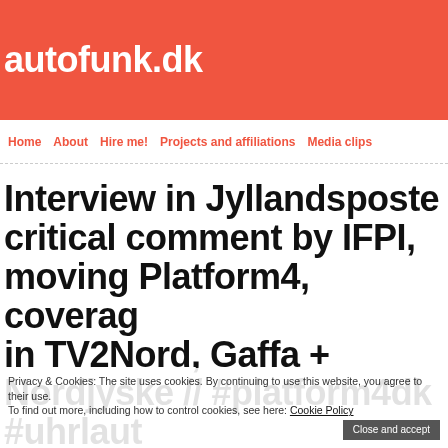autofunk.dk
Home | About | Hire me! | Projects and affiliations | Media clips
Interview in Jyllandsposten, critical comment by IFPI, moving Platform4, coverage in TV2Nord, Gaffa + Nordjyske // #platform4dk #uhrlaut
Privacy & Cookies: The site uses cookies. By continuing to use this website, you agree to their use. To find out more, including how to control cookies, see here: Cookie Policy  Close and accept
It's busy times right now; we've moved Platform4 from the old venue, launched PlayForm Mobile Art & Technology Exhibition and released a new EP with Tone - while at the same time trying out a new rather rebellious sharing experiment in Aalborg, Aarhus...